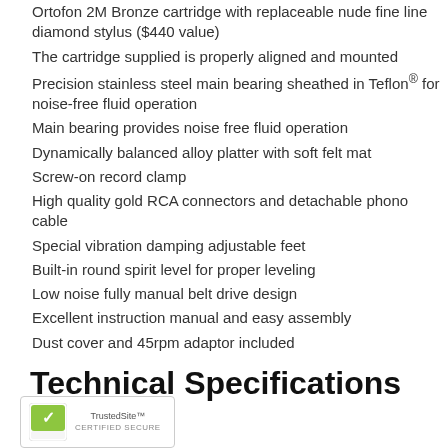Ortofon 2M Bronze cartridge with replaceable nude fine line diamond stylus ($440 value)
The cartridge supplied is properly aligned and mounted
Precision stainless steel main bearing sheathed in Teflon® for noise-free fluid operation
Main bearing provides noise free fluid operation
Dynamically balanced alloy platter with soft felt mat
Screw-on record clamp
High quality gold RCA connectors and detachable phono cable
Special vibration damping adjustable feet
Built-in round spirit level for proper leveling
Low noise fully manual belt drive design
Excellent instruction manual and easy assembly
Dust cover and 45rpm adaptor included
Technical Specifications